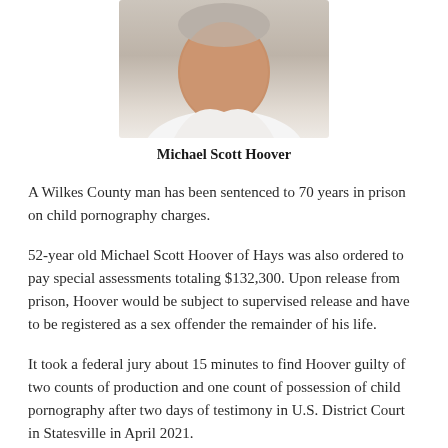[Figure (photo): Cropped headshot photo of Michael Scott Hoover, showing face and neck area, white collar visible, light background]
Michael Scott Hoover
A Wilkes County man has been sentenced to 70 years in prison on child pornography charges.
52-year old Michael Scott Hoover of Hays was also ordered to pay special assessments totaling $132,300. Upon release from prison, Hoover would be subject to supervised release and have to be registered as a sex offender the remainder of his life.
It took a federal jury about 15 minutes to find Hoover guilty of two counts of production and one count of possession of child pornography after two days of testimony in U.S. District Court in Statesville in April 2021.